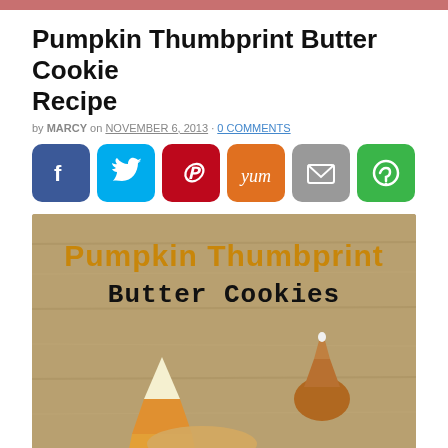Pumpkin Thumbprint Butter Cookie Recipe
by MARCY on NOVEMBER 6, 2013 · 0 COMMENTS
[Figure (infographic): Social share buttons: Facebook (blue), Twitter (light blue), Pinterest (red), Yummly (orange), Email (gray), Other (green)]
[Figure (photo): Photo of pumpkin thumbprint butter cookies on a wooden board background. Text overlay reads 'Pumpkin Thumbprint Butter Cookies' in orange and black. Cookie shapes visible at bottom including candy corn and chocolate kiss candies.]